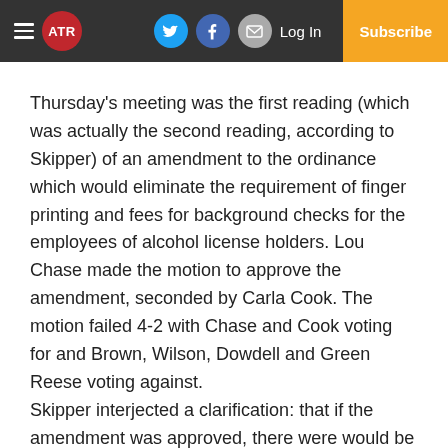ATR | Log In | Subscribe
Thursday’s meeting was the first reading (which was actually the second reading, according to Skipper) of an amendment to the ordinance which would eliminate the requirement of finger printing and fees for background checks for the employees of alcohol license holders. Lou Chase made the motion to approve the amendment, seconded by Carla Cook. The motion failed 4-2 with Chase and Cook voting for and Brown, Wilson, Dowdell and Green Reese voting against.
Skipper interjected a clarification: that if the amendment was approved, there were would be no